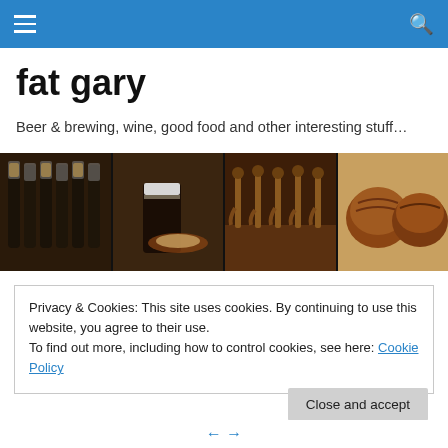Navigation bar with hamburger menu and search icon
fat gary
Beer & brewing, wine, good food and other interesting stuff…
[Figure (photo): Four-panel header image strip showing: beer bottles in foil, a dark stout beer with food, wooden beer tap handles in a row, and artisan bread loaves.]
Privacy & Cookies: This site uses cookies. By continuing to use this website, you agree to their use.
To find out more, including how to control cookies, see here: Cookie Policy
Close and accept